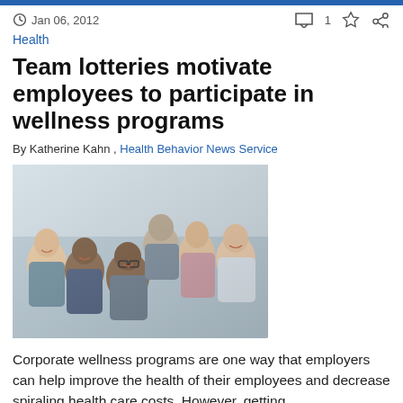Jan 06, 2012
Health
Team lotteries motivate employees to participate in wellness programs
By Katherine Kahn , Health Behavior News Service
[Figure (photo): Group photo of diverse smiling employees in an office setting]
Corporate wellness programs are one way that employers can help improve the health of their employees and decrease spiraling health care costs. However, getting